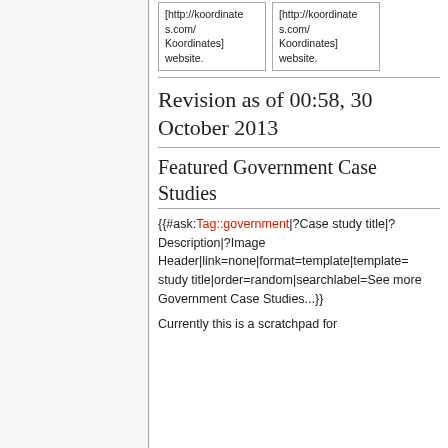| [http://koordinates.com/ Koordinates] website. | [http://koordinates.com/ Koordinates] website. |
Revision as of 00:58, 30 October 2013
Featured Government Case Studies
{{#ask:Tag::government|?Case study title|?Description|?Image Header|link=none|format=template|template= study title|order=random|searchlabel=See more Government Case Studies...}}
Currently this is a scratchpad for